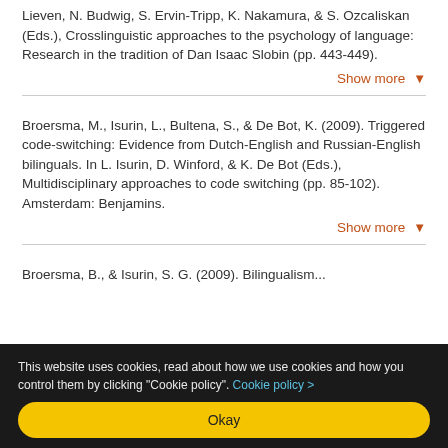Lieven, N. Budwig, S. Ervin-Tripp, K. Nakamura, & S. Ozcaliskan (Eds.), Crosslinguistic approaches to the psychology of language: Research in the tradition of Dan Isaac Slobin (pp. 443-449).
Show more ▼
Broersma, M., Isurin, L., Bultena, S., & De Bot, K. (2009). Triggered code-switching: Evidence from Dutch-English and Russian-English bilinguals. In L. Isurin, D. Winford, & K. De Bot (Eds.), Multidisciplinary approaches to code switching (pp. 85-102). Amsterdam: Benjamins.
Show more ▼
Broersma, B., & Isurin, S. G. (2009). Bilingualism...
This website uses cookies, read about how we use cookies and how you control them by clicking "Cookie policy". Cookie policy >
Okay